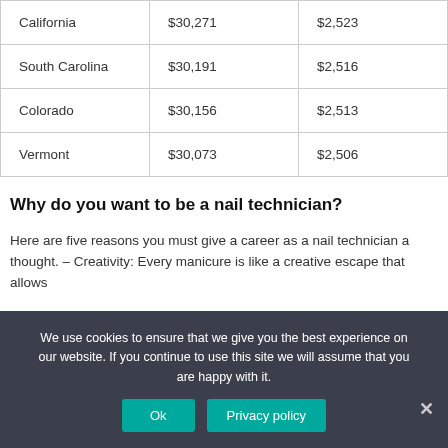| California | $30,271 | $2,523 |
| South Carolina | $30,191 | $2,516 |
| Colorado | $30,156 | $2,513 |
| Vermont | $30,073 | $2,506 |
Why do you want to be a nail technician?
Here are five reasons you must give a career as a nail technician a thought. – Creativity: Every manicure is like a creative escape that allows
We use cookies to ensure that we give you the best experience on our website. If you continue to use this site we will assume that you are happy with it.